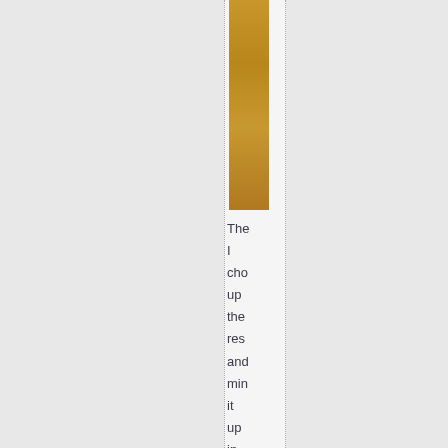[Figure (photo): A tall narrow vertical strip photograph showing what appears to be a wooden stick or rod with golden-brown coloring, oriented vertically.]
The
I
cho
up
the
res
and
min
it
up
in
my
foo